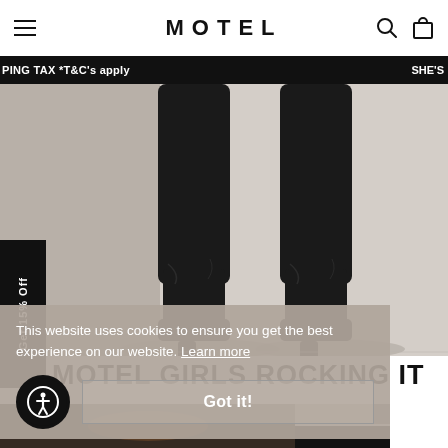MOTEL
PING TAX *T&C's apply   SHE'S
[Figure (photo): Rear view of model wearing tall black platform boots against a light background]
Get 15% Off
MOTEL GIRLS ROCKING IT
This website uses cookies to ensure you get the best experience on our website. Learn more
Got it!